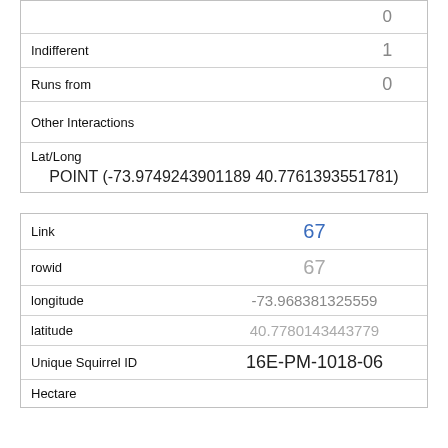|  | 0 |
| Indifferent | 1 |
| Runs from | 0 |
| Other Interactions |  |
| Lat/Long | POINT (-73.9749243901189 40.7761393551781) |
| Link | 67 |
| rowid | 67 |
| longitude | -73.968381325559 |
| latitude | 40.7780143443779 |
| Unique Squirrel ID | 16E-PM-1018-06 |
| Hectare |  |